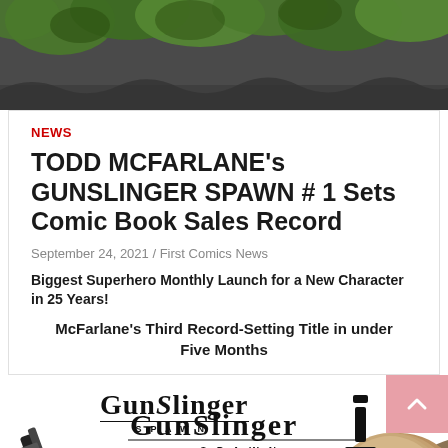[Figure (illustration): Top banner with dark grey background and green leaves/foliage decorative elements]
NEWS
TODD MCFARLANE's GUNSLINGER SPAWN # 1 Sets Comic Book Sales Record
September 24, 2021 / First Comics News
Biggest Superhero Monthly Launch for a New Character in 25 Years!
McFarlane's Third Record-Setting Title in under Five Months
[Figure (illustration): Comic book cover artwork showing GunSlinger Spawn #1 with gun barrel on left, GunSlinger Spawn logo in center, character head bottom center, Image Comics logo and issue number label on right, with back-to-top button overlay]